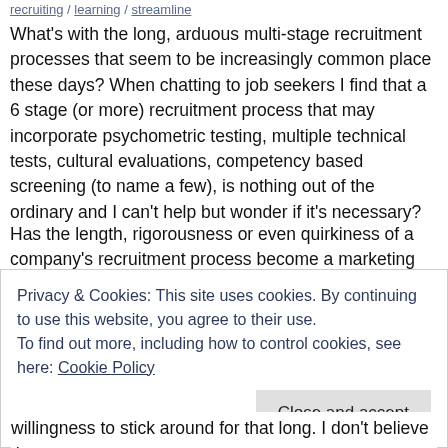recruiting / learning / streamline
What's with the long, arduous multi-stage recruitment processes that seem to be increasingly common place these days? When chatting to job seekers I find that a 6 stage (or more) recruitment process that may incorporate psychometric testing, multiple technical tests, cultural evaluations, competency based screening (to name a few), is nothing out of the ordinary and I can't help but wonder if it's necessary?
Has the length, rigorousness or even quirkiness of a company's recruitment process become a marketing tool to tell the world that what lies beyond this extensive screening must be worth all the work and effort put in?
Privacy & Cookies: This site uses cookies. By continuing to use this website, you agree to their use.
To find out more, including how to control cookies, see here: Cookie Policy
willingness to stick around for that long. I don't believe that